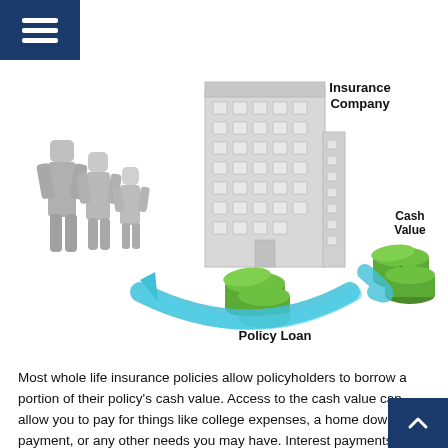Menu icon (hamburger)
[Figure (infographic): Illustration showing a family of 3D figures on the left, a large office building (Insurance Company) in the center-right, stacks of green cash labeled 'Policy Loan' at the bottom center, and more cash labeled 'Cash Value' on the right. A curved teal arrow points from the building back toward the family, indicating money flow from the insurance company back to the policyholder via a policy loan drawn from cash value.]
Most whole life insurance policies allow policyholders to borrow a portion of their policy's cash value. Access to the cash value can allow you to pay for things like college expenses, a home down payment, or any other needs you may have. Interest payments on policy loans go directly back into the policy's cash value.